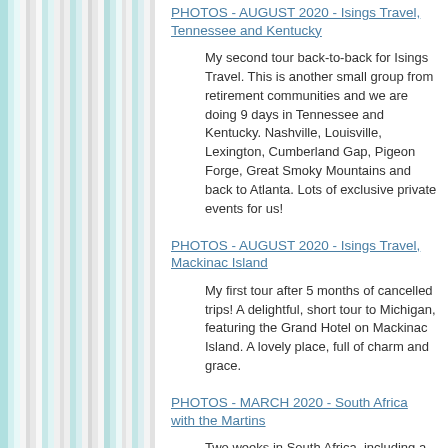PHOTOS - AUGUST 2020 - Isings Travel, Tennessee and Kentucky
My second tour back-to-back for Isings Travel. This is another small group from retirement communities and we are doing 9 days in Tennessee and Kentucky. Nashville, Louisville, Lexington, Cumberland Gap, Pigeon Forge, Great Smoky Mountains and back to Atlanta. Lots of exclusive private events for us!
PHOTOS - AUGUST 2020 - Isings Travel, Mackinac Island
My first tour after 5 months of cancelled trips! A delightful, short tour to Michigan, featuring the Grand Hotel on Mackinac Island. A lovely place, full of charm and grace.
PHOTOS - MARCH 2020 - South Africa with the Martins
Two weeks in South Africa, including a couple nights at